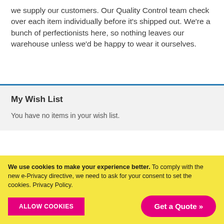we supply our customers. Our Quality Control team check over each item individually before it's shipped out. We're a bunch of perfectionists here, so nothing leaves our warehouse unless we'd be happy to wear it ourselves.
My Wish List
You have no items in your wish list.
CUSTOMER SERVICES
We use cookies to make your experience better. To comply with the new e-Privacy directive, we need to ask for your consent to set the cookies. Privacy Policy.